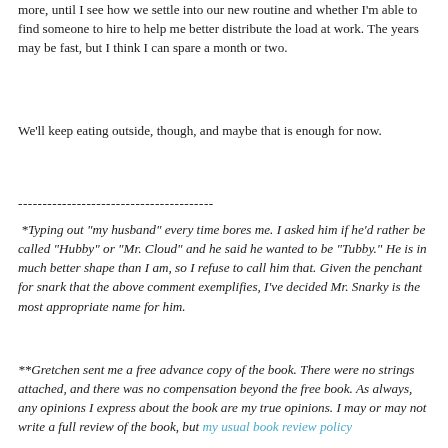more, until I see how we settle into our new routine and whether I'm able to find someone to hire to help me better distribute the load at work. The years may be fast, but I think I can spare a month or two.
We'll keep eating outside, though, and maybe that is enough for now.
----------------------------------------
*Typing out "my husband" every time bores me. I asked him if he'd rather be called "Hubby" or "Mr. Cloud" and he said he wanted to be "Tubby." He is in much better shape than I am, so I refuse to call him that. Given the penchant for snark that the above comment exemplifies, I've decided Mr. Snarky is the most appropriate name for him.
**Gretchen sent me a free advance copy of the book. There were no strings attached, and there was no compensation beyond the free book. As always, any opinions I express about the book are my true opinions. I may or may not write a full review of the book, but my usual book review policy